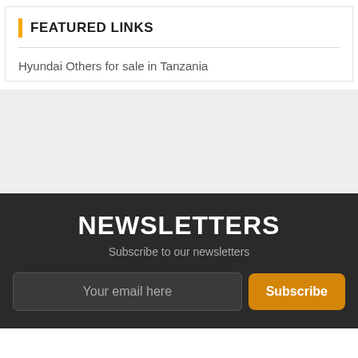FEATURED LINKS
Hyundai Others for sale in Tanzania
NEWSLETTERS
Subscribe to our newsletters
Your email here
Subscribe